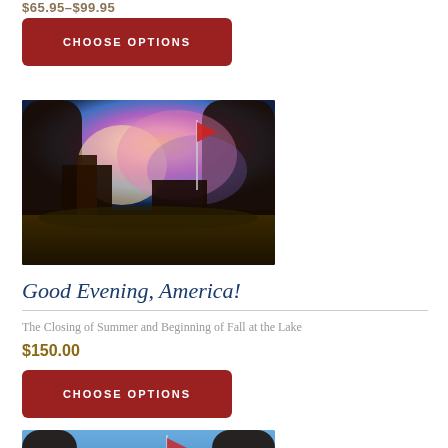$65.95–$99.95
[Figure (other): Button labeled CHOOSE OPTIONS with dark red background]
[Figure (photo): Painting of a lakeside scene at dusk/evening with houses, trees, American flag at half-mast, pink and blue twilight sky]
Good Evening, America!
The Closing of Summer and Beginning of Fall at the Lake
$150.00
[Figure (other): Button labeled CHOOSE OPTIONS with dark red background]
[Figure (photo): Painting showing trees and an American flag against a blue sky, partial view]